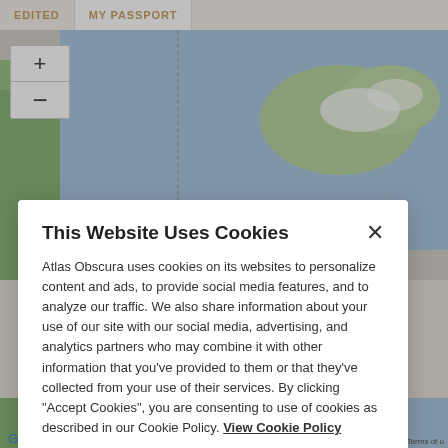EDITED   MY PASSPORT
[Figure (screenshot): Google Maps interface showing map with zoom controls (+/-) and ocean/land view]
This Website Uses Cookies
Atlas Obscura uses cookies on its websites to personalize content and ads, to provide social media features, and to analyze our traffic. We also share information about your use of our site with our social media, advertising, and analytics partners who may combine it with other information that you've provided to them or that they've collected from your use of their services. By clicking "Accept Cookies", you are consenting to use of cookies as described in our Cookie Policy. View Cookie Policy
Manage Preferences
Allow Cookies